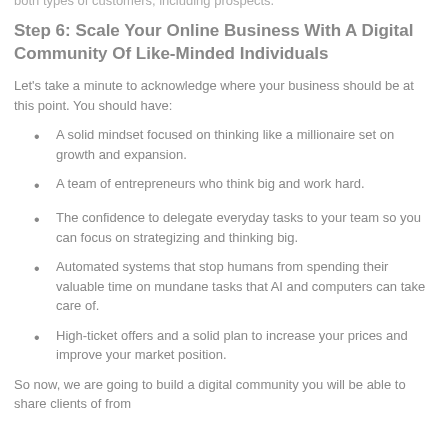both types of customers, including prospects.
Step 6: Scale Your Online Business With A Digital Community Of Like-Minded Individuals
Let’s take a minute to acknowledge where your business should be at this point. You should have:
A solid mindset focused on thinking like a millionaire set on growth and expansion.
A team of entrepreneurs who think big and work hard.
The confidence to delegate everyday tasks to your team so you can focus on strategizing and thinking big.
Automated systems that stop humans from spending their valuable time on mundane tasks that AI and computers can take care of.
High-ticket offers and a solid plan to increase your prices and improve your market position.
So now, we are going to build a digital community you will be able to share clients of from